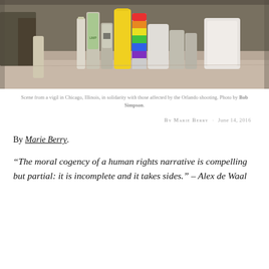[Figure (photo): Photo of candles at a vigil in Chicago, Illinois, in solidarity with those affected by the Orlando shooting.]
Scene from a vigil in Chicago, Illinois, in solidarity with those affected by the Orlando shooting. Photo by Bob Simpson.
BY MARIE BERRY · June 14, 2016
By Marie Berry.
“The moral cogency of a human rights narrative is compelling but partial: it is incomplete and it takes sides.” – Alex de Waal